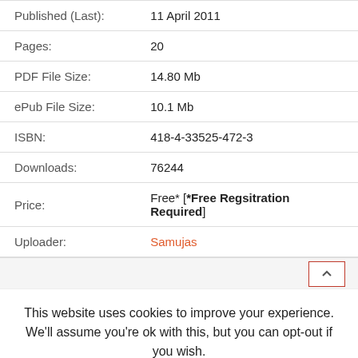| Field | Value |
| --- | --- |
| Published (Last): | 11 April 2011 |
| Pages: | 20 |
| PDF File Size: | 14.80 Mb |
| ePub File Size: | 10.1 Mb |
| ISBN: | 418-4-33525-472-3 |
| Downloads: | 76244 |
| Price: | Free* [*Free Regsitration Required] |
| Uploader: | Samujas |
This website uses cookies to improve your experience. We'll assume you're ok with this, but you can opt-out if you wish.
Cookie settings | ACCEPT